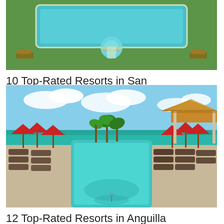[Figure (photo): Aerial view of a rectangular swimming pool with green lawn, lounge chairs, and circular hot tub area at a resort in San Juan, Puerto Rico]
10 Top-Rated Resorts in San Juan, Puerto Rico
[Figure (photo): Resort infinity pool in Anguilla with turquoise water, red beach umbrellas, lounge chairs, thatched gazebo, palm trees, and ocean view under blue sky]
12 Top-Rated Resorts in Anguilla